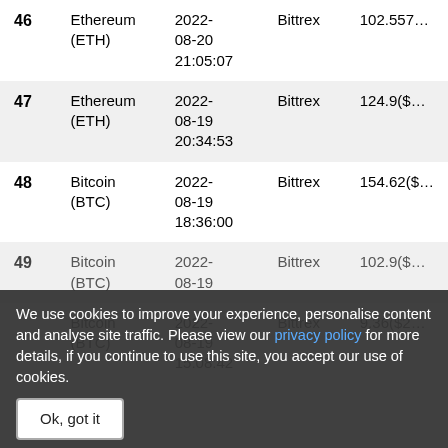| # | Asset | Date | Exchange | Amount |
| --- | --- | --- | --- | --- |
| 46 | Ethereum (ETH) | 2022-08-20 21:05:07 | Bittrex | 102.557… |
| 47 | Ethereum (ETH) | 2022-08-19 20:34:53 | Bittrex | 124.9($… |
| 48 | Bitcoin (BTC) | 2022-08-19 18:36:00 | Bittrex | 154.62($… |
| 49 | Bitcoin (BTC) | 2022-08-19 … | Bittrex | 102.9($… |
| 50 | Bitcoin (BTC) | 2022-08-19 15:08:42 | Bittrex | 9.36($2… |
We use cookies to improve your experience, personalise content and analyse site traffic. Please view our privacy policy for more details, if you continue to use this site, you accept our use of cookies.